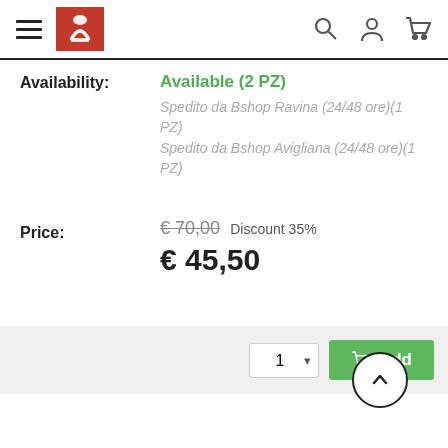[Figure (screenshot): Website navigation header with hamburger menu, red logo, search icon, user icon, and cart icon]
Availability: Available (2 PZ)
Spedito da Bshop Ravina (24/48 ore)(1 PZ)
Spedito da Bshop Avigliana (24/48 ore)(1 PZ)
Price: € 70,00 Discount 35%
€ 45,50